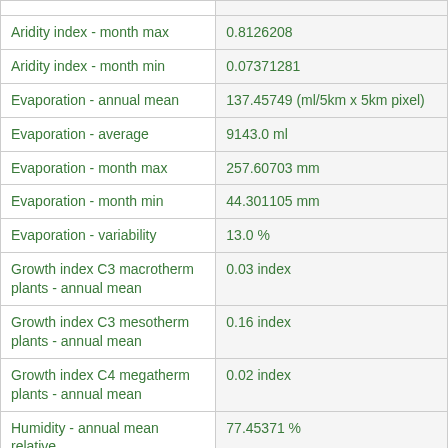| Parameter | Value |
| --- | --- |
| Aridity index - month max | 0.8126208 |
| Aridity index - month min | 0.07371281 |
| Evaporation - annual mean | 137.45749 (ml/5km x 5km pixel) |
| Evaporation - average | 9143.0 ml |
| Evaporation - month max | 257.60703 mm |
| Evaporation - month min | 44.301105 mm |
| Evaporation - variability | 13.0 % |
| Growth index C3 macrotherm plants - annual mean | 0.03 index |
| Growth index C3 mesotherm plants - annual mean | 0.16 index |
| Growth index C4 megatherm plants - annual mean | 0.02 index |
| Humidity - annual mean relative | 77.45371 % |
| Humidity - annual mean relative | 65.82299 % |